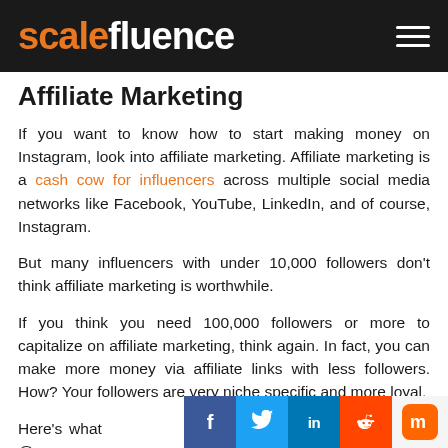scalefluence
Affiliate Marketing
If you want to know how to start making money on Instagram, look into affiliate marketing. Affiliate marketing is a cash cow for influencers across multiple social media networks like Facebook, YouTube, LinkedIn, and of course, Instagram.
But many influencers with under 10,000 followers don’t think affiliate marketing is worthwhile.
If you think you need 100,000 followers or more to capitalize on affiliate marketing, think again. In fact, you can make more money via affiliate links with less followers. How? Your followers are very niche specific and more loyal.
Here’s what affiliates learned from nano-influencer @c